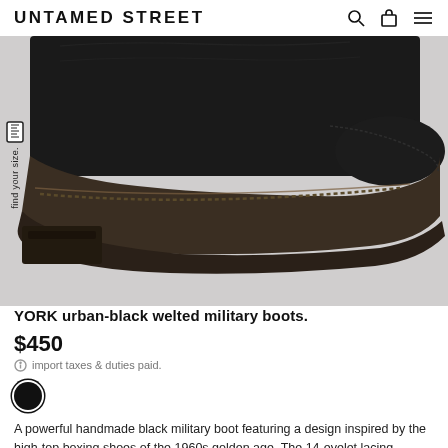UNTAMED STREET
[Figure (photo): Close-up photo of a black leather military boot sole and lower shaft against a light grey background. The boot shows worn dark brown/black leather sole with visible welting detail.]
YORK urban-black welted military boots.
$450
import taxes & duties paid.
[Figure (other): Black circular color swatch indicating the available color option for the boot.]
A powerful handmade black military boot featuring a design inspired by the high-top boxing shoes of the 1960s golden age. The 14-eyelet lacing,